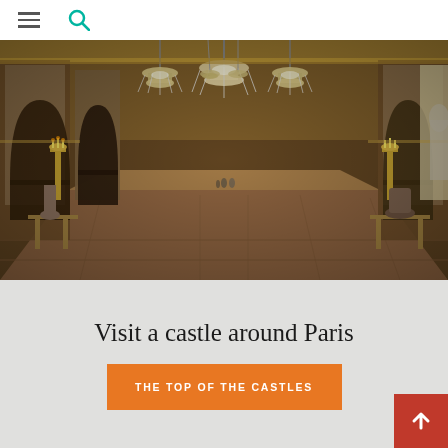Navigation bar with hamburger menu and search icon
[Figure (photo): Interior of the Hall of Mirrors at the Palace of Versailles, showing ornate gilded arches, crystal chandeliers, marble floors, and decorative sculptures along the walls]
Visit a castle around Paris
THE TOP OF THE CASTLES